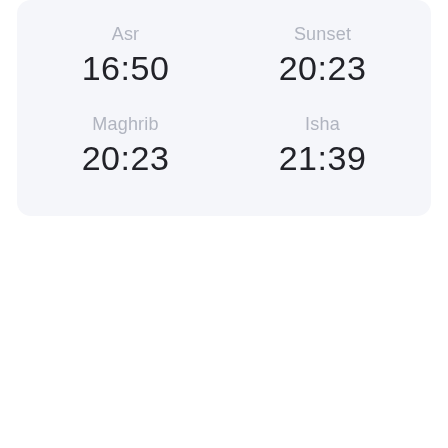Asr
16:50
Sunset
20:23
Maghrib
20:23
Isha
21:39